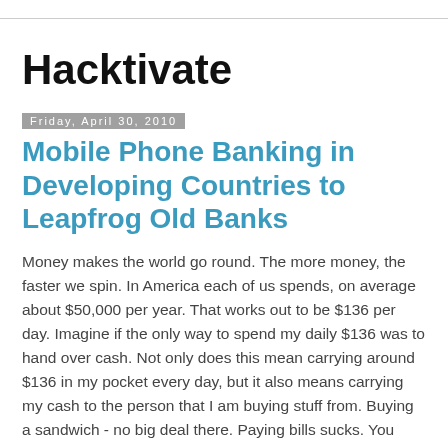Hacktivate
Friday, April 30, 2010
Mobile Phone Banking in Developing Countries to Leapfrog Old Banks
Money makes the world go round. The more money, the faster we spin. In America each of us spends, on average about $50,000 per year. That works out to be $136 per day. Imagine if the only way to spend my daily $136 was to hand over cash. Not only does this mean carrying around $136 in my pocket every day, but it also means carrying my cash to the person that I am buying stuff from. Buying a sandwich - no big deal there. Paying bills sucks. You have to go the electric company, the phone company, the water company.